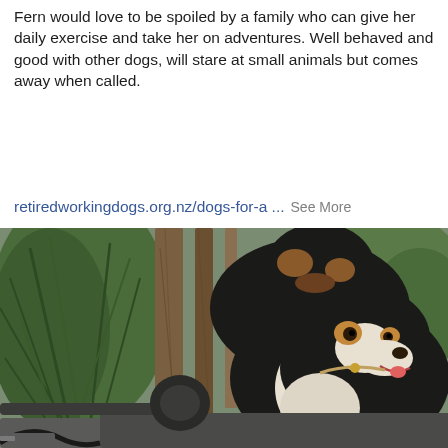Fern would love to be spoiled by a family who can give her daily exercise and take her on adventures. Well behaved and good with other dogs, will stare at small animals but comes away when called.
retiredworkingdogs.org.nz/dogs-for-a ... See More
[Figure (photo): Two farm dogs (a black, brown and white collie-type dog in the foreground and a larger dark dog behind) sitting in or on a rustic wooden farm vehicle or machinery, with flax/cabbage tree plants and greenery visible in the background.]